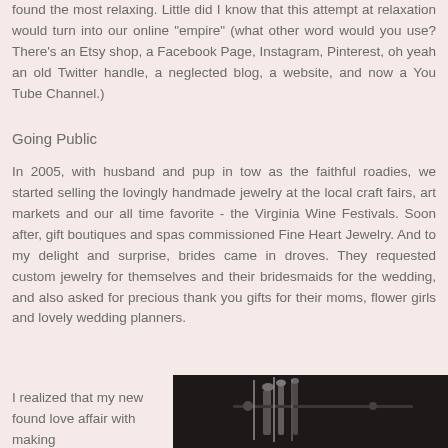found the most relaxing. Little did I know that this attempt at relaxation would turn into our online “empire” (what other word would you use? There’s an Etsy shop, a Facebook Page, Instagram, Pinterest, oh yeah an old Twitter handle, a neglected blog, a website, and now a You Tube Channel.)
Going Public
In 2005, with husband and pup in tow as the faithful roadies, we started selling the lovingly handmade jewelry at the local craft fairs, art markets and our all time favorite - the Virginia Wine Festivals. Soon after, gift boutiques and spas commissioned Fine Heart Jewelry. And to my delight and surprise, brides came in droves. They requested custom jewelry for themselves and their bridesmaids for the wedding, and also asked for precious thank you gifts for their moms, flower girls and lovely wedding planners.
I realized that my new found love affair with making
[Figure (photo): Close-up photo of jewelry making tools and jewelry pieces on a dark background]